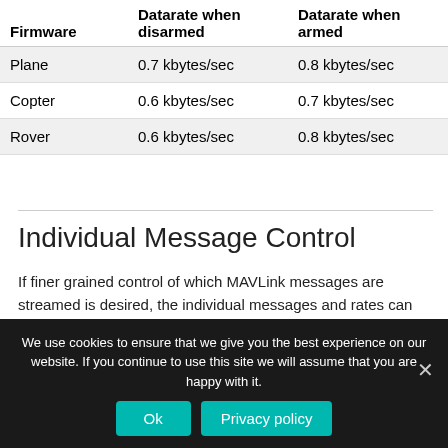| Firmware | Datarate when disarmed | Datarate when armed |
| --- | --- | --- |
| Plane | 0.7 kbytes/sec | 0.8 kbytes/sec |
| Copter | 0.6 kbytes/sec | 0.7 kbytes/sec |
| Rover | 0.6 kbytes/sec | 0.8 kbytes/sec |
Individual Message Control
If finer grained control of which MAVLink messages are streamed is desired, the individual messages and rates can be controlled. There are a few methods for doing this.
For this example, a file containing the message ID's
We use cookies to ensure that we give you the best experience on our website. If you continue to use this site we will assume that you are happy with it.